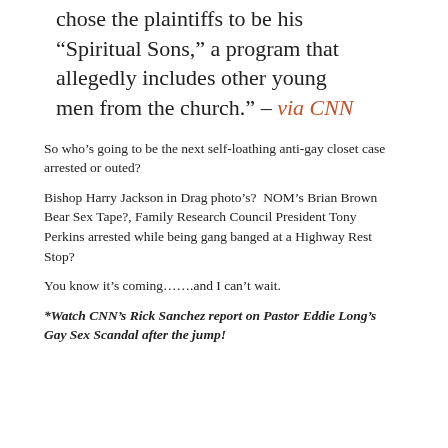chose the plaintiffs to be his “Spiritual Sons,” a program that allegedly includes other young men from the church.” – via CNN
So who’s going to be the next self-loathing anti-gay closet case arrested or outed?
Bishop Harry Jackson in Drag photo’s?  NOM’s Brian Brown Bear Sex Tape?, Family Research Council President Tony Perkins arrested while being gang banged at a Highway Rest Stop?
You know it’s coming…….and I can’t wait.
*Watch CNN’s Rick Sanchez report on Pastor Eddie Long’s Gay Sex Scandal after the jump!